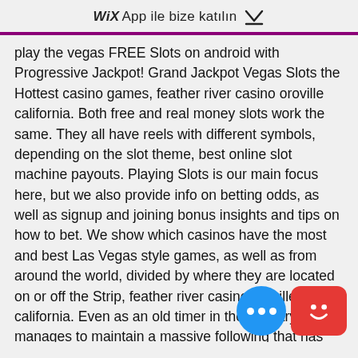WiX App ile bize katılın ↓
play the vegas FREE Slots on android with Progressive Jackpot! Grand Jackpot Vegas Slots the Hottest casino games, feather river casino oroville california. Both free and real money slots work the same. They all have reels with different symbols, depending on the slot theme, best online slot machine payouts. Playing Slots is our main focus here, but we also provide info on betting odds, as well as signup and joining bonus insights and tips on how to bet. We show which casinos have the most and best Las Vegas style games, as well as from around the world, divided by where they are located on or off the Strip, feather river casino oroville california. Even as an old timer in the industry, 888 manages to maintain a massive following that has kept it afloat all these years. Today, it boasts an audience of over twenty-five million active users, which is a lot